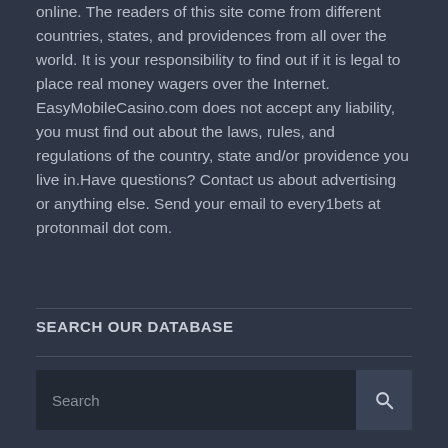online. The readers of this site come from different countries, states, and providences from all over the world. It is your responsibility to find out if it is legal to place real money wagers over the Internet. EasyMobileCasino.com does not accept any liability, you must find out about the laws, rules, and regulations of the country, state and/or providence you live in.Have questions? Contact us about advertising or anything else. Send your email to every1bets at protonmail dot com.
SEARCH OUR DATABASE